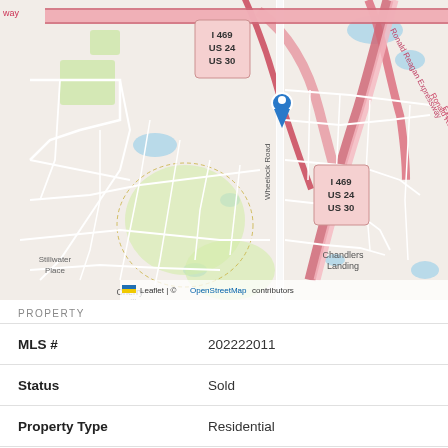[Figure (map): Street map showing a location pin on Wheelock Road near Cherry Hill neighborhood, with Ronald Reagan Expressway, I 469 / US 24 / US 30 highway markers, and neighborhoods including Stillwater Place, Cherry Hill, and Chandlers Landing. Leaflet / OpenStreetMap attribution shown.]
PROPERTY
| MLS # | 202222011 |
| Status | Sold |
| Property Type | Residential |
| Property SubType | Site-Built Home |
| Square Feet | 1687 Sq Ft... |